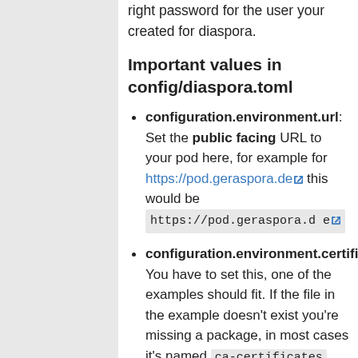right password for the user your created for diaspora.
Important values in config/diaspora.toml
configuration.environment.url: Set the public facing URL to your pod here, for example for https://pod.geraspora.de this would be https://pod.geraspora.de
configuration.environment.certificate: You have to set this, one of the examples should fit. If the file in the example doesn't exist you're missing a package, in most cases it's named ca-certificates.
configuration.server.rails_environment: You must set this to